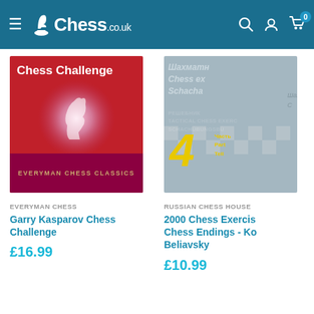Chess.co.uk navigation bar
[Figure (photo): Book cover: Garry Kasparov Chess Challenge, Everyman Chess Classics, red background with glowing chess piece]
EVERYMAN CHESS
Garry Kasparov Chess Challenge
£16.99
[Figure (photo): Book cover: 2000 Chess Exercises Chess Endings, Russian Chess House, grey/blue background with Cyrillic text and large yellow '4']
RUSSIAN CHESS HOUSE
2000 Chess Exercises Chess Endings - Ko... Beliavsky
£10.99